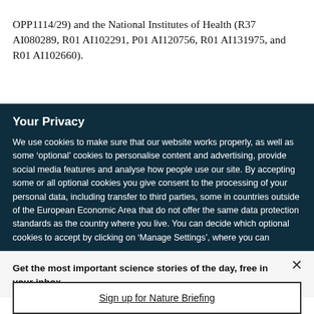OPP1114/29) and the National Institutes of Health (R37 AI080289, R01 AI102291, P01 AI120756, R01 AI131975, and R01 AI102660).
Your Privacy
We use cookies to make sure that our website works properly, as well as some ‘optional’ cookies to personalise content and advertising, provide social media features and analyse how people use our site. By accepting some or all optional cookies you give consent to the processing of your personal data, including transfer to third parties, some in countries outside of the European Economic Area that do not offer the same data protection standards as the country where you live. You can decide which optional cookies to accept by clicking on ‘Manage Settings’, where you can
Get the most important science stories of the day, free in your inbox.
Sign up for Nature Briefing